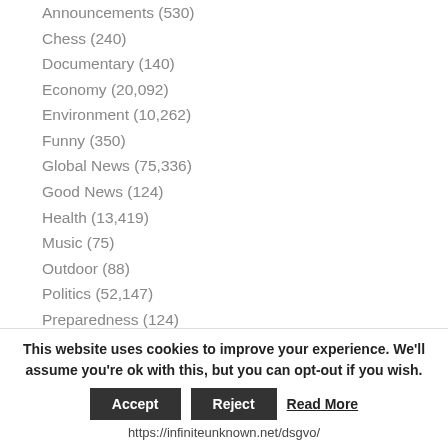Announcements (530)
Chess (240)
Documentary (140)
Economy (20,092)
Environment (10,262)
Funny (350)
Global News (75,336)
Good News (124)
Health (13,419)
Music (75)
Outdoor (88)
Politics (52,147)
Preparedness (124)
Science (4,027)
Society (29,239)
This website uses cookies to improve your experience. We'll assume you're ok with this, but you can opt-out if you wish.
Accept | Reject | Read More
https://infiniteunknown.net/dsgvo/